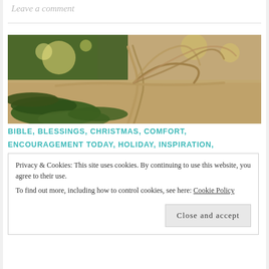Leave a comment
[Figure (photo): Close-up photo of a wrapped gift with pine branches and twine/burlap ribbon bow, bokeh lights in background]
BIBLE, BLESSINGS, CHRISTMAS, COMFORT, ENCOURAGEMENT TODAY, HOLIDAY, INSPIRATION,
Privacy & Cookies: This site uses cookies. By continuing to use this website, you agree to their use. To find out more, including how to control cookies, see here: Cookie Policy
Close and accept